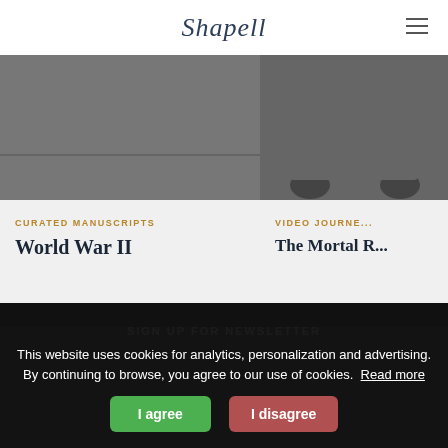Shapell
[Figure (photo): Black and white photo of soldiers walking together in military gear]
CURATED MANUSCRIPTS
World War II
[Figure (photo): Black and white photo of a man in a suit near a car]
VIDEO JOURNE...
The Mortal R...
SIGN UP FOR NEWSLETTER
This website uses cookies for analytics, personalization and advertising. By continuing to browse, you agree to our use of cookies. Read more
I agree
I disagree